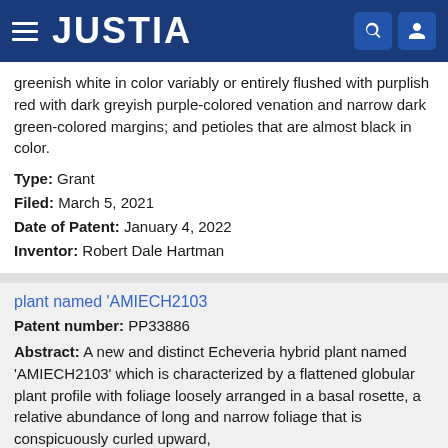JUSTIA
greenish white in color variably or entirely flushed with purplish red with dark greyish purple-colored venation and narrow dark green-colored margins; and petioles that are almost black in color.
Type: Grant
Filed: March 5, 2021
Date of Patent: January 4, 2022
Inventor: Robert Dale Hartman
plant named 'AMIECH2103
Patent number: PP33886
Abstract: A new and distinct Echeveria hybrid plant named 'AMIECH2103' which is characterized by a flattened globular plant profile with foliage loosely arranged in a basal rosette, a relative abundance of long and narrow foliage that is conspicuously curled upward, dark green foliage that is distinctively colored greenish